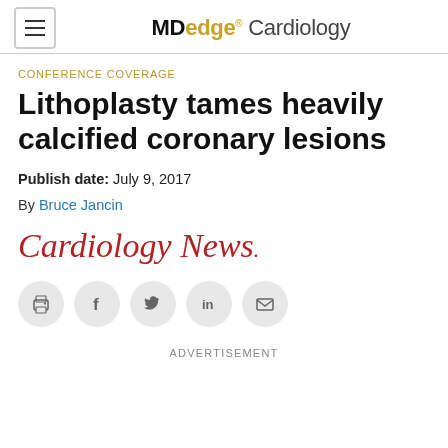MDedge Cardiology
CONFERENCE COVERAGE
Lithoplasty tames heavily calcified coronary lesions
Publish date: July 9, 2017
By Bruce Jancin
[Figure (logo): Cardiology News logo in red italic serif font]
[Figure (infographic): Social share icons: print, Facebook, Twitter, LinkedIn, email]
ADVERTISEMENT